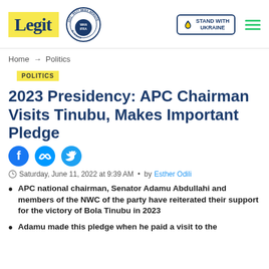Legit | WAN IFRA 2021 Best News Website in Africa | Stand with Ukraine
Home → Politics
POLITICS
2023 Presidency: APC Chairman Visits Tinubu, Makes Important Pledge
Saturday, June 11, 2022 at 9:39 AM • by Esther Odili
APC national chairman, Senator Adamu Abdullahi and members of the NWC of the party have reiterated their support for the victory of Bola Tinubu in 2023
Adamu made this pledge when he paid a visit to the